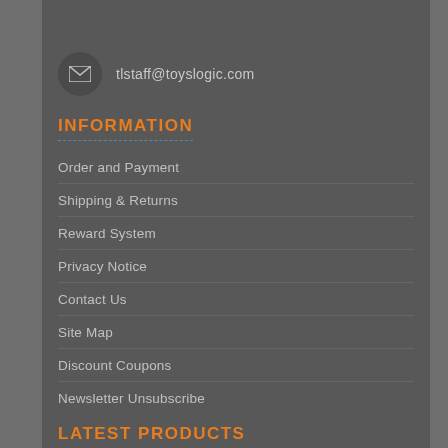tlstaff@toyslogic.com
INFORMATION
Order and Payment
Shipping & Returns
Reward System
Privacy Notice
Contact Us
Site Map
Discount Coupons
Newsletter Unsubscribe
LATEST PRODUCTS
Super Details Parts - SDP-03 Neodymium magnet disk 4mm
€7.50  €6.50